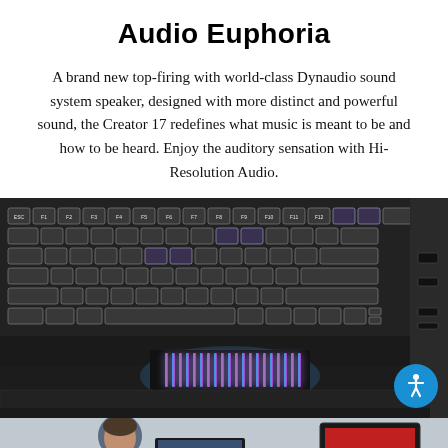Audio Euphoria
A brand new top-firing with world-class Dynaudio sound system speaker, designed with more distinct and powerful sound, the Creator 17 redefines what music is meant to be and how to be heard. Enjoy the auditory sensation with Hi-Resolution Audio.
[Figure (photo): Close-up photo of a laptop keyboard with backlighting and a glowing blue/purple speaker grille visible from the side, with ports visible on the right edge.]
[Figure (photo): Partial photo showing a person in a denim jacket sitting at a desk, partially cropped at the bottom of the page.]